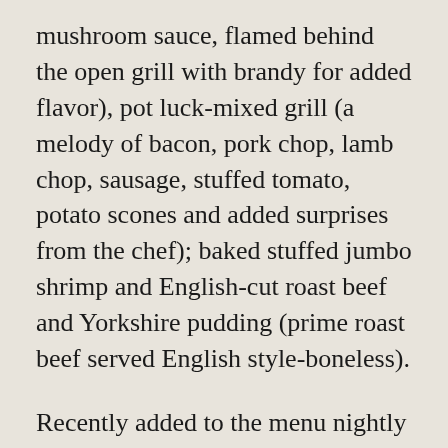mushroom sauce, flamed behind the open grill with brandy for added flavor), pot luck-mixed grill (a melody of bacon, pork chop, lamb chop, sausage, stuffed tomato, potato scones and added surprises from the chef); baked stuffed jumbo shrimp and English-cut roast beef and Yorkshire pudding (prime roast beef served English style-boneless).
Recently added to the menu nightly (except Saturday) was The Harp & Bard’s famous corned beef and cabbage dinner in portions fit to appease a longshoreman’s appetite that had previously been a twice weekly special.